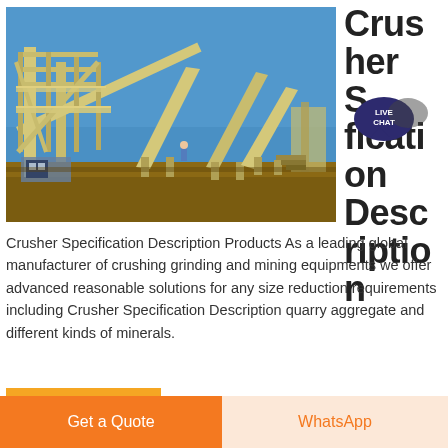[Figure (photo): Industrial crusher/mining equipment facility with conveyor belts and yellow steel structures under a blue sky]
Crusher Specification Description
Crusher Specification Description Products As a leading global manufacturer of crushing grinding and mining equipments we offer advanced reasonable solutions for any size reduction requirements including Crusher Specification Description quarry aggregate and different kinds of minerals.
Get Price
Get a Quote
WhatsApp